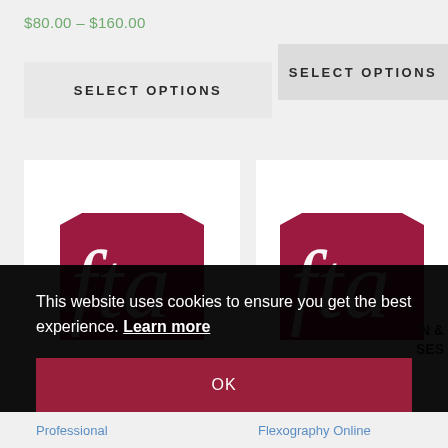$80.00 – $160.00
SELECT OPTIONS
SELECT OPTIONS
[Figure (logo): FTA (Flexographic Technical Association) logo — crimson/dark-red triangular background with white italic 'fta' lettering, left card]
[Figure (logo): FTA (Flexographic Technical Association) logo — crimson/dark-red triangular background with white italic 'fta' lettering, right card]
This website uses cookies to ensure you get the best experience. Learn more
OK
Professional
Flexography Online